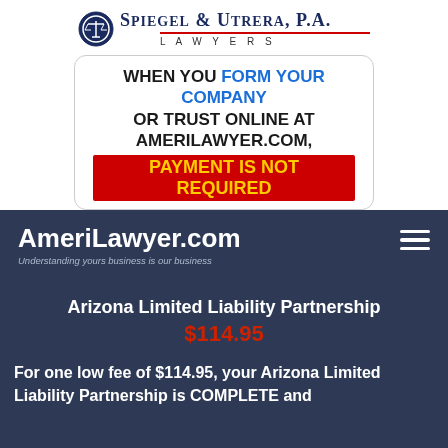[Figure (logo): Spiegel & Utrera, P.A. Lawyers logo with scales of justice icon]
WHEN YOU FORM YOUR COMPANY OR TRUST ONLINE AT AMERILAWYER.COM, PAYMENT IS NOT REQUIRED
AmeriLawyer.com
Understanding yours business is our business
Arizona Limited Liability Partnership
$114.95
For one low fee of $114.95, your Arizona Limited Liability Partnership is COMPLETE and